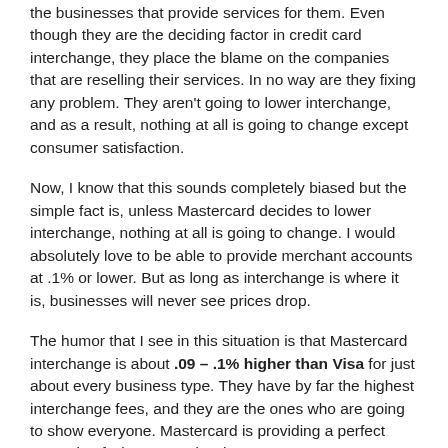the businesses that provide services for them. Even though they are the deciding factor in credit card interchange, they place the blame on the companies that are reselling their services. In no way are they fixing any problem. They aren't going to lower interchange, and as a result, nothing at all is going to change except consumer satisfaction.
Now, I know that this sounds completely biased but the simple fact is, unless Mastercard decides to lower interchange, nothing at all is going to change. I would absolutely love to be able to provide merchant accounts at .1% or lower. But as long as interchange is where it is, businesses will never see prices drop.
The humor that I see in this situation is that Mastercard interchange is about .09 – .1% higher than Visa for just about every business type. They have by far the highest interchange fees, and they are the ones who are going to show everyone. Mastercard is providing a perfect example of what not to do when your company goes public!
Related Posts:
Merchant Account Fees, Credit Card Interchange – Who are you really paying?